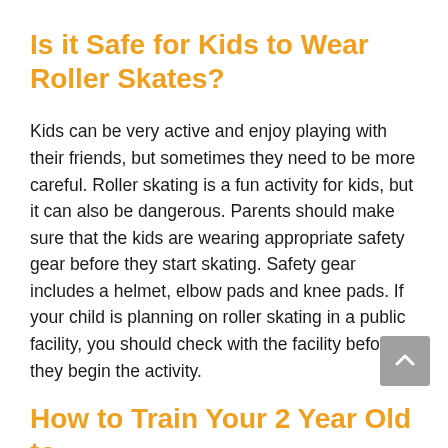Is it Safe for Kids to Wear Roller Skates?
Kids can be very active and enjoy playing with their friends, but sometimes they need to be more careful. Roller skating is a fun activity for kids, but it can also be dangerous. Parents should make sure that the kids are wearing appropriate safety gear before they start skating. Safety gear includes a helmet, elbow pads and knee pads. If your child is planning on roller skating in a public facility, you should check with the facility before they begin the activity.
How to Train Your 2 Year Old to